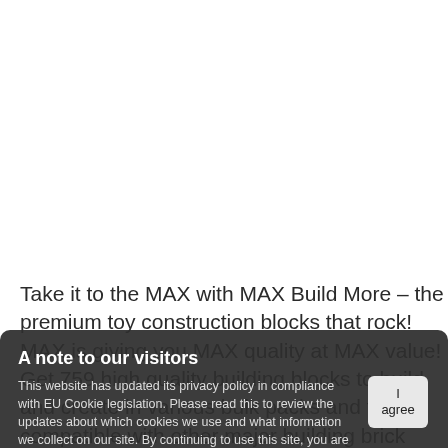Take it to the MAX with MAX Build More – the premium toy construction blocks that rock! MAX is giving you MAX quality at MAX value! Get 759 high quality building blocks to build and create in various bulk packs and fully compatible with other major building brick brands. With MAX you'll get the same great block play that kids love like bulk brick
A note to our visitors
This website has updated its privacy policy in compliance with EU Cookie legislation. Please read this to review the updates about which cookies we use and what information we collect on our site. By continuing to use this site, you are agreeing to our updated privacy policy. Read more here